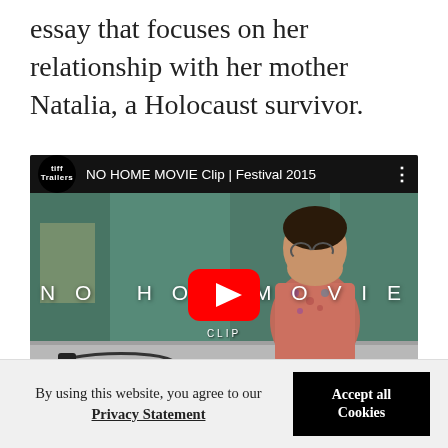essay that focuses on her relationship with her mother Natalia, a Holocaust survivor.
[Figure (screenshot): YouTube video thumbnail for 'NO HOME MOVIE Clip | Festival 2015' showing TIFF Trailers logo, video title bar, elderly woman seated at a table with green/teal wall background, large red YouTube play button overlay, and white text reading 'NO HO... MOVIE' and 'CLIP']
By using this website, you agree to our Privacy Statement